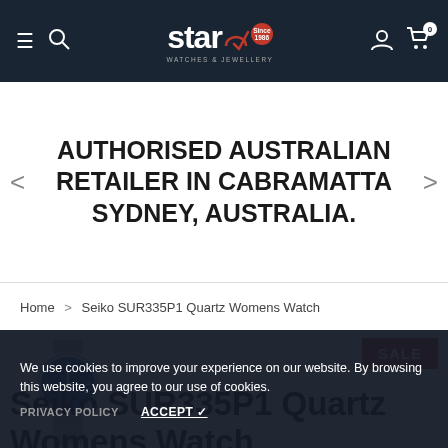Star Watches & Jewellery — navigation bar with logo, search, user, and cart icons
AUTHORISED AUSTRALIAN RETAILER IN CABRAMATTA SYDNEY, AUSTRALIA.
Home > Seiko SUR335P1 Quartz Womens Watch
[Figure (photo): Seiko SUR335P1 women's watch with blue dial and silver bracelet, small product image thumbnail with SALE badge]
Seiko SUR335P1 Quartz Womens Watch
We use cookies to improve your experience on our website. By browsing this website, you agree to our use of cookies.
PRIVACY POLICY   ACCEPT ✓